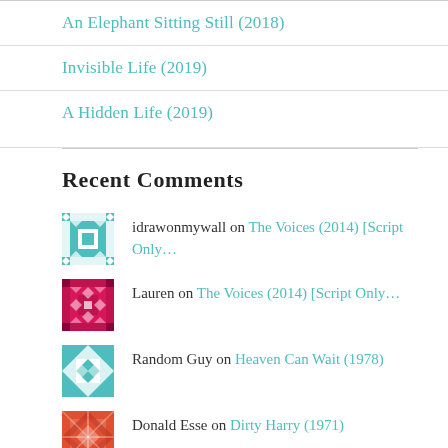An Elephant Sitting Still (2018)
Invisible Life (2019)
A Hidden Life (2019)
Recent Comments
idrawonmywall on The Voices (2014) [Script Only...
Lauren on The Voices (2014) [Script Only...
Random Guy on Heaven Can Wait (1978)
Donald Esse on Dirty Harry (1971)